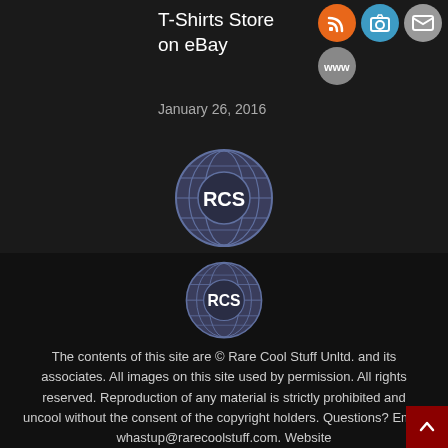T-Shirts Store on eBay
January 26, 2016
[Figure (infographic): Social media icons: RSS (orange), Instagram/camera (blue), Email (gray), WWW (gray)]
John Scheele Q&A on Dylan Basement Tapes Cover Shoot, Pts. 3-4
December 23, 2014
[Figure (logo): RCS logo — circular badge with globe background and letters RCS in white on dark blue/gray]
The contents of this site are © Rare Cool Stuff Unltd. and its associates. All images on this site used by permission. All rights reserved. Reproduction of any material is strictly prohibited and uncool without the consent of the copyright holders. Questions? Email whastup@rarecoolstuff.com. Website